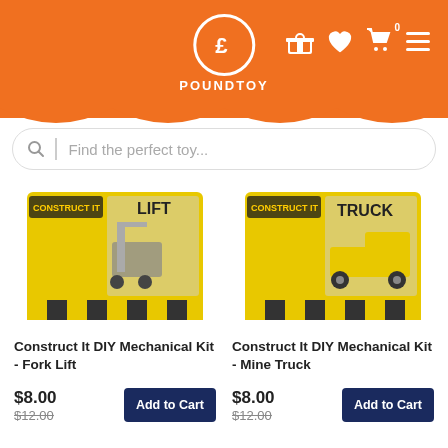POUNDTOY
Find the perfect toy...
[Figure (photo): Construct It DIY Mechanical Kit - Fork Lift product box, yellow packaging with black hazard stripes]
Construct It DIY Mechanical Kit - Fork Lift
$8.00 $12.00 Add to Cart
[Figure (photo): Construct It DIY Mechanical Kit - Mine Truck product box, yellow packaging with black hazard stripes]
Construct It DIY Mechanical Kit - Mine Truck
$8.00 $12.00 Add to Cart